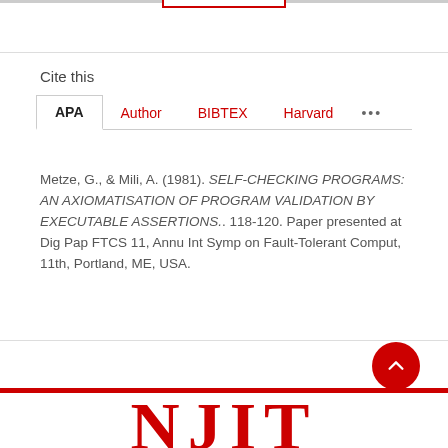Cite this
APA | Author | BIBTEX | Harvard | ...
Metze, G., & Mili, A. (1981). SELF-CHECKING PROGRAMS: AN AXIOMATISATION OF PROGRAM VALIDATION BY EXECUTABLE ASSERTIONS.. 118-120. Paper presented at Dig Pap FTCS 11, Annu Int Symp on Fault-Tolerant Comput, 11th, Portland, ME, USA.
NJIT